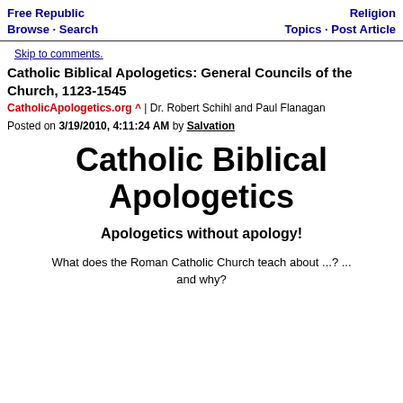Free Republic Browse · Search | Religion Topics · Post Article
Skip to comments.
Catholic Biblical Apologetics: General Councils of the Church, 1123-1545
CatholicApologetics.org ^ | Dr. Robert Schihl and Paul Flanagan
Posted on 3/19/2010, 4:11:24 AM by Salvation
Catholic Biblical Apologetics
Apologetics without apology!
What does the Roman Catholic Church teach about ...? ... and why?